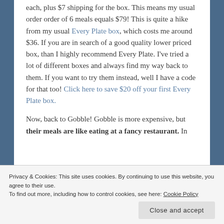each, plus $7 shipping for the box. This means my usual order order of 6 meals equals $79! This is quite a hike from my usual Every Plate box, which costs me around $36. If you are in search of a good quality lower priced box, than I highly recommend Every Plate. I've tried a lot of different boxes and always find my way back to them. If you want to try them instead, well I have a code for that too! Click here to save $20 off your first Every Plate box.
Now, back to Gobble! Gobble is more expensive, but their meals are like eating at a fancy restaurant. In
Privacy & Cookies: This site uses cookies. By continuing to use this website, you agree to their use.
To find out more, including how to control cookies, see here: Cookie Policy